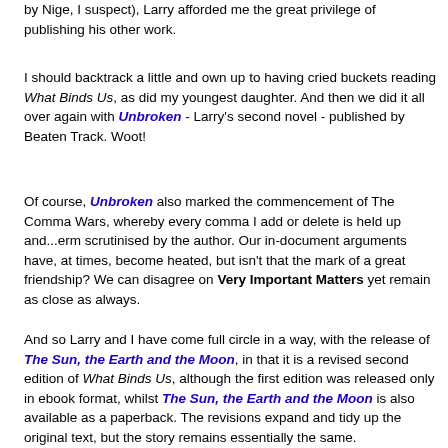by Nige, I suspect), Larry afforded me the great privilege of publishing his other work.
I should backtrack a little and own up to having cried buckets reading What Binds Us, as did my youngest daughter. And then we did it all over again with Unbroken - Larry's second novel - published by Beaten Track. Woot!
Of course, Unbroken also marked the commencement of The Comma Wars, whereby every comma I add or delete is held up and...erm scrutinised by the author. Our in-document arguments have, at times, become heated, but isn't that the mark of a great friendship? We can disagree on Very Important Matters yet remain as close as always.
And so Larry and I have come full circle in a way, with the release of The Sun, the Earth and the Moon, in that it is a revised second edition of What Binds Us, although the first edition was released only in ebook format, whilst The Sun, the Earth and the Moon is also available as a paperback. The revisions expand and tidy up the original text, but the story remains essentially the same.